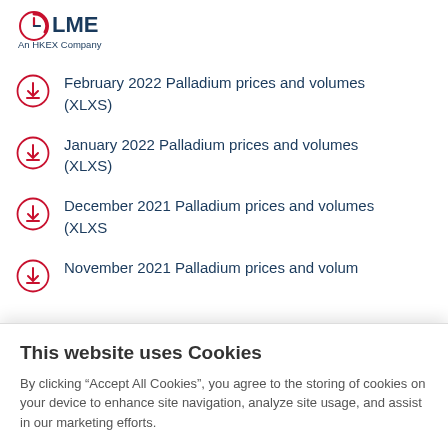LME - An HKEX Company
February 2022 Palladium prices and volumes (XLXS)
January 2022 Palladium prices and volumes (XLXS)
December 2021 Palladium prices and volumes (XLXS
November 2021 Palladium prices and volumes (partial)
This website uses Cookies
By clicking “Accept All Cookies”, you agree to the storing of cookies on your device to enhance site navigation, analyze site usage, and assist in our marketing efforts.